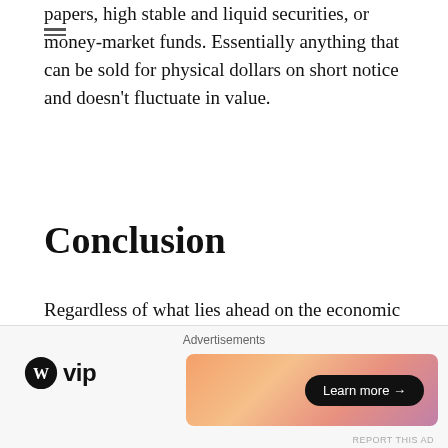papers, high stable and liquid securities, or money-market funds. Essentially anything that can be sold for physical dollars on short notice and doesn't fluctuate in value.
Conclusion
Regardless of what lies ahead on the economic landscape in 2020, make sure you have an emergency fund. It is prudent to ensure you have, at minimum, 3-6 months of living expenses saved and easily accessible. Even if you haven't started saving for retirement, an emergency fund should be your first priority.
If you have any questions about where you should b...
[Figure (other): Advertisement overlay: WordPress VIP logo on the left and a gradient banner ad with 'Learn more →' button on the right, with 'Advertisements' label at top and 'REPORT THIS AD' at bottom right. A close (×) button appears at top right of the ad overlay area.]